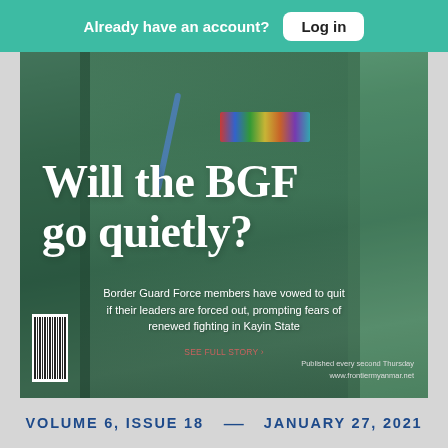Already have an account? Log in
[Figure (photo): Magazine cover of Frontier Myanmar showing a military officer in green uniform with medals and ribbons, wearing a blue lanyard. The cover headline reads 'Will the BGF go quietly?' with a subtitle about Border Guard Force members vowing to quit if their leaders are forced out, prompting fears of renewed fighting in Kayin State.]
Will the BGF go quietly?
Border Guard Force members have vowed to quit if their leaders are forced out, prompting fears of renewed fighting in Kayin State
Published every second Thursday
www.frontiermyanmar.net
VOLUME 6, ISSUE 18  —  JANUARY 27, 2021